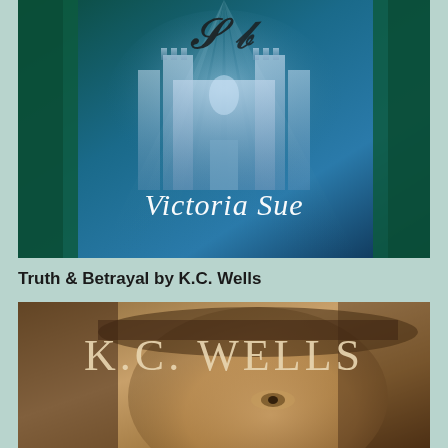[Figure (illustration): Book cover for a Victoria Sue novel featuring ornate cursive 'S B' initials at top, a fantasy castle in blue and teal tones with dramatic light rays, and the author name 'Victoria Sue' in white cursive script at the bottom of the cover.]
Truth & Betrayal by K.C. Wells
[Figure (illustration): Book cover for 'Truth & Betrayal' by K.C. Wells showing the author name 'K.C. WELLS' in large serif font over a close-up sepia-toned portrait of a man's face partially visible, with a hat, warm brown tones.]